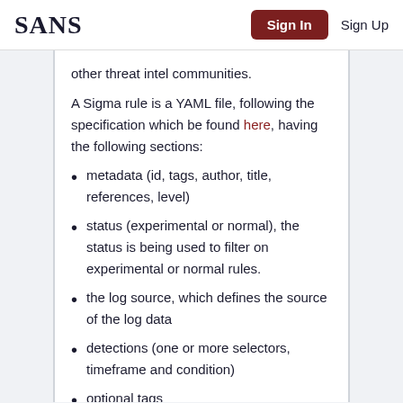SANS | Sign In | Sign Up
other threat intel communities.
A Sigma rule is a YAML file, following the specification which be found here, having the following sections:
metadata (id, tags, author, title, references, level)
status (experimental or normal), the status is being used to filter on experimental or normal rules.
the log source, which defines the source of the log data
detections (one or more selectors, timeframe and condition)
optional tags
false positives descriptions, a mention...